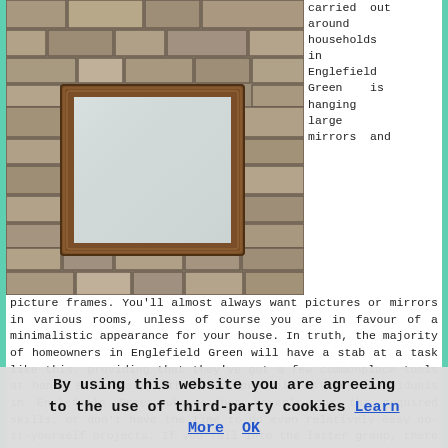[Figure (photo): A large rectangular mirror with a wooden brown frame mounted on a stone/brick wall background. The mirror reflects a light gray surface. The wall is made of irregular stone blocks in tan and gray tones.]
carried out around households in Englefield Green is hanging large mirrors and picture frames. You'll almost always want pictures or mirrors in various rooms, unless of course you are in favour of a minimalistic appearance for your house. In truth, the majority of homeowners in Englefield Green will have a stab at a task like this, providing that they've got a few commonplace tools at hand. But equally, there are probably as many individuals in Englefield Green who either haven't got the required skills, or don't have the time to do even relatively easy do-it-yourself projects. If you fall into the latter group, there is always a handyman service nearby that'll be willing to help out.
Showing up at your front door with all the correct tools, fittings and fixtures, a professional Englefield Green odd job man will get to work straight away, and quickly have
By using this website you are agreeing to the use of third-party cookies Learn More OK